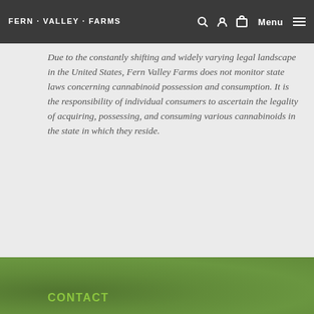FERN VALLEY FARMS
Due to the constantly shifting and widely varying legal landscape in the United States, Fern Valley Farms does not monitor state laws concerning cannabinoid possession and consumption. It is the responsibility of individual consumers to ascertain the legality of acquiring, possessing, and consuming various cannabinoids in the state in which they reside.
CONTACT